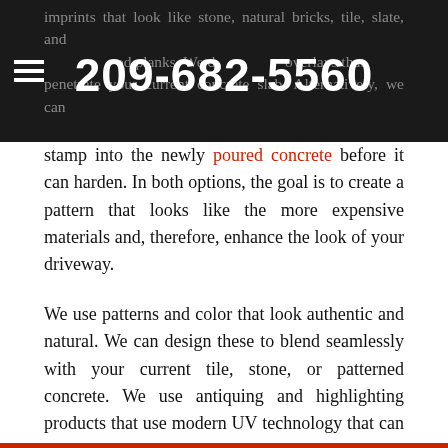imprints that look like stone, natural bricks, tile, slate, and wood planks. We do overlays that penetrate your current concrete slab. Alternatively, we can — 209-682-5560
stamp into the newly poured concrete before it can harden. In both options, the goal is to create a pattern that looks like the more expensive materials and, therefore, enhance the look of your driveway.
We use patterns and color that look authentic and natural. We can design these to blend seamlessly with your current tile, stone, or patterned concrete. We use antiquing and highlighting products that use modern UV technology that can withstand fading. When we combine these with some high-quality sealers, you can be assured of a low-maintenance, and easy-to-clean driveway.
Call us today at (209)682-5560 and get free estimates.